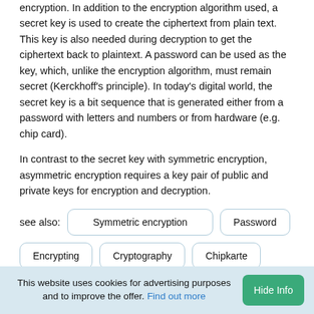encryption. In addition to the encryption algorithm used, a secret key is used to create the ciphertext from plain text. This key is also needed during decryption to get the ciphertext back to plaintext. A password can be used as the key, which, unlike the encryption algorithm, must remain secret (Kerckhoff's principle). In today's digital world, the secret key is a bit sequence that is generated either from a password with letters and numbers or from hardware (e.g. chip card).
In contrast to the secret key with symmetric encryption, asymmetric encryption requires a key pair of public and private keys for encryption and decryption.
see also: Symmetric encryption | Password | Encrypting | Cryptography | Chipkarte | Private Key | Public Key
This website uses cookies for advertising purposes and to improve the offer. Find out more